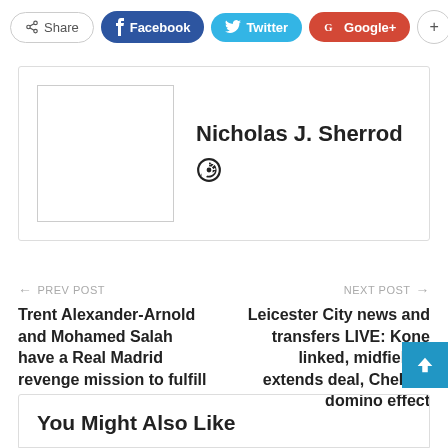[Figure (screenshot): Social share buttons: Share, Facebook, Twitter, Google+, plus button]
[Figure (screenshot): Author card for Nicholas J. Sherrod with avatar placeholder and globe icon]
← PREV POST
Trent Alexander-Arnold and Mohamed Salah have a Real Madrid revenge mission to fulfill
NEXT POST →
Leicester City news and transfers LIVE: Kone linked, midfielder extends deal, Chelsea domino effect
You Might Also Like
All →